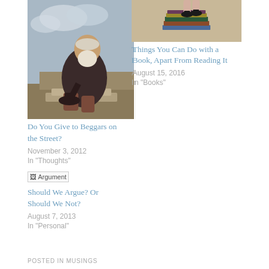[Figure (photo): Painting of an elderly bearded man in dark clothes sitting on stone steps, holding a hat]
Do You Give to Beggars on the Street?
November 3, 2012
In "Thoughts"
[Figure (photo): Partial image with broken image icon labeled 'Argument']
Should We Argue? Or Should We Not?
August 7, 2013
In "Personal"
[Figure (photo): Painting of legs wearing Mary Jane shoes sitting on a stack of books]
Things You Can Do with a Book, Apart From Reading It
August 15, 2016
In "Books"
POSTED IN MUSINGS